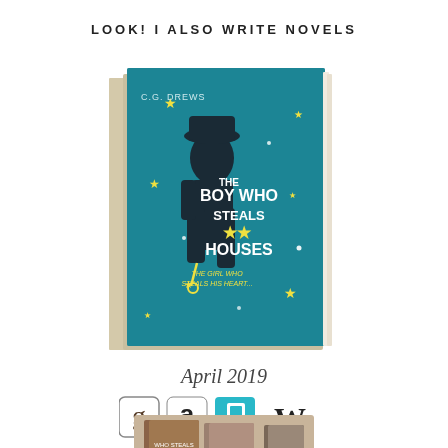LOOK! I ALSO WRITE NOVELS
[Figure (illustration): 3D book cover of 'The Boy Who Steals Houses' by C.G. Drews, featuring a dark silhouette of a boy with a key against a teal blue background with stars]
April 2019
[Figure (illustration): Retailer logos: Goodreads (g), Amazon (a), Book Depository (book icon), Waterstones (W)]
[Figure (photo): Partial photo of books at the bottom of the page]